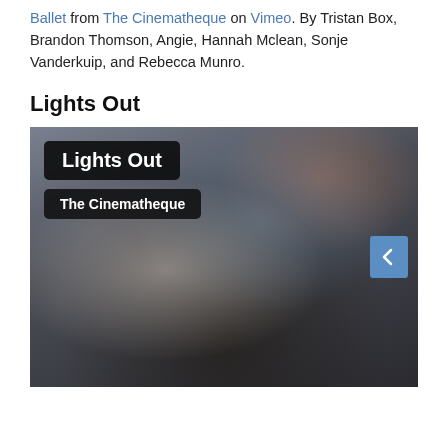Ballet from The Cinematheque on Vimeo. By Tristan Box, Brandon Thomson, Angie, Hannah Mclean, Sonje Vanderkuip, and Rebecca Munro.
Lights Out
[Figure (photo): A dark, blurred video thumbnail showing people in a dimly lit room. Overlaid text boxes read 'Lights Out' in a black rounded rectangle and 'The Cinematheque' in another black rounded rectangle below it. A blue navigation arrow button appears on the right side.]